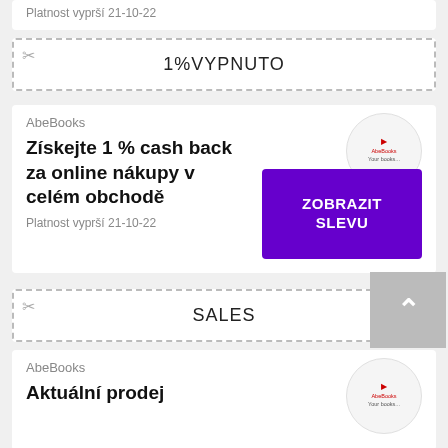Platnost vyprší 21-10-22
1%VYPNUTO
AbeBooks
Získejte 1 % cash back za online nákupy v celém obchodě
Platnost vyprší 21-10-22
ZOBRAZIT SLEVU
SALES
AbeBooks
Aktuální prodej